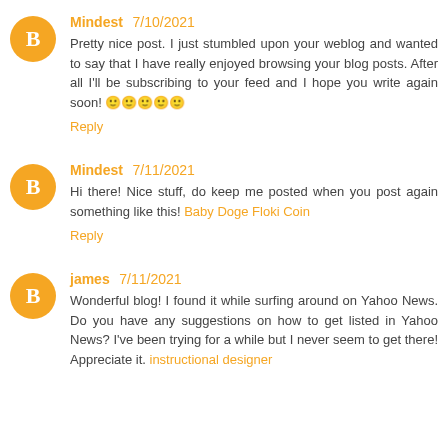Mindest 7/10/2021 — Pretty nice post. I just stumbled upon your weblog and wanted to say that I have really enjoyed browsing your blog posts. After all I'll be subscribing to your feed and I hope you write again soon! 🙂🙂🙂🙂🙂
Reply
Mindest 7/11/2021 — Hi there! Nice stuff, do keep me posted when you post again something like this! Baby Doge Floki Coin
Reply
james 7/11/2021 — Wonderful blog! I found it while surfing around on Yahoo News. Do you have any suggestions on how to get listed in Yahoo News? I've been trying for a while but I never seem to get there! Appreciate it. instructional designer